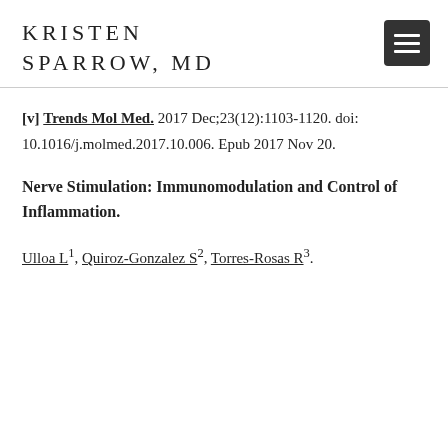KRISTEN SPARROW, MD
[v] Trends Mol Med. 2017 Dec;23(12):1103-1120. doi: 10.1016/j.molmed.2017.10.006. Epub 2017 Nov 20.
Nerve Stimulation: Immunomodulation and Control of Inflammation.
Ulloa L1, Quiroz-Gonzalez S2, Torres-Rosas R3.